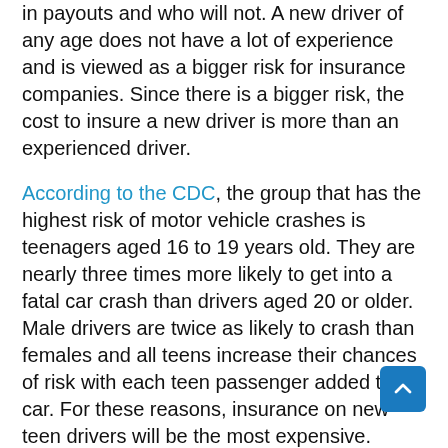in payouts and who will not. A new driver of any age does not have a lot of experience and is viewed as a bigger risk for insurance companies. Since there is a bigger risk, the cost to insure a new driver is more than an experienced driver.
According to the CDC, the group that has the highest risk of motor vehicle crashes is teenagers aged 16 to 19 years old. They are nearly three times more likely to get into a fatal car crash than drivers aged 20 or older. Male drivers are twice as likely to crash than females and all teens increase their chances of risk with each teen passenger added to the car. For these reasons, insurance on new teen drivers will be the most expensive.
Practical Tips for Insurance
If you have a new teen driver, there are several tips that experienced parents and insurance brokers